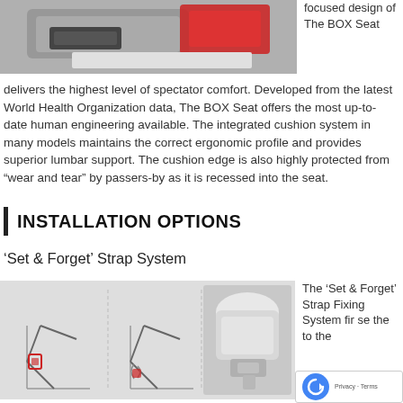[Figure (photo): Photo of The BOX Seat product, showing the seat mechanism with red accents, viewed from the side/above.]
focused design of The BOX Seat
delivers the highest level of spectator comfort. Developed from the latest World Health Organization data, The BOX Seat offers the most up-to-date human engineering available. The integrated cushion system in many models maintains the correct ergonomic profile and provides superior lumbar support. The cushion edge is also highly protected from “wear and tear” by passers-by as it is recessed into the seat.
INSTALLATION OPTIONS
‘Set & Forget’ Strap System
[Figure (illustration): Diagram showing three stages of the Set & Forget Strap Fixing System installation, with two line drawings on the left showing the strap mechanism steps and a photo on the right showing the actual seat component.]
The ‘Set & Forget’ Strap Fixing System fir se the to the